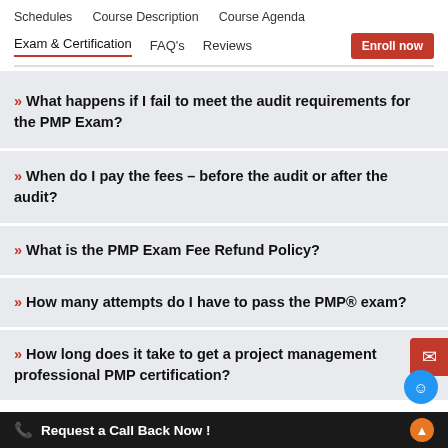Schedules   Course Description   Course Agenda
Exam & Certification   FAQ's   Reviews   Enroll now
» What happens if I fail to meet the audit requirements for the PMP Exam?
» When do I pay the fees – before the audit or after the audit?
» What is the PMP Exam Fee Refund Policy?
» How many attempts do I have to pass the PMP® exam?
» How long does it take to get a project management professional PMP certification?
Request a Call Back Now !